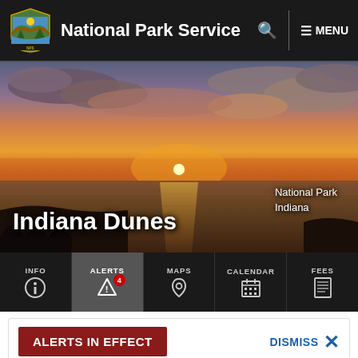National Park Service  Q  ≡ MENU
[Figure (photo): Sunset over Lake Michigan at Indiana Dunes, orange and golden sky with clouds, calm water, sun near horizon]
Indiana Dunes
National Park
Indiana
INFO  ALERTS 4  MAPS  CALENDAR  FEES
ALERTS IN EFFECT
DISMISS ✕
PARK CLOSURES